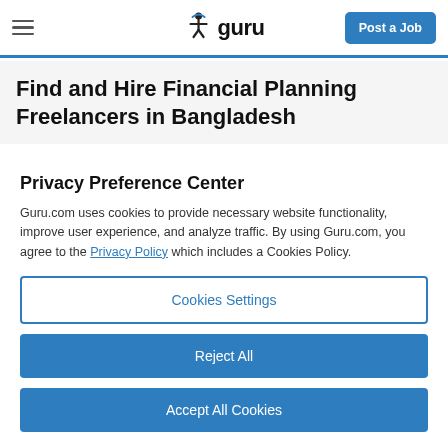guru — Post a Job
Find and Hire Financial Planning Freelancers in Bangladesh
Privacy Preference Center
Guru.com uses cookies to provide necessary website functionality, improve user experience, and analyze traffic. By using Guru.com, you agree to the Privacy Policy which includes a Cookies Policy.
Cookies Settings
Reject All
Accept All Cookies